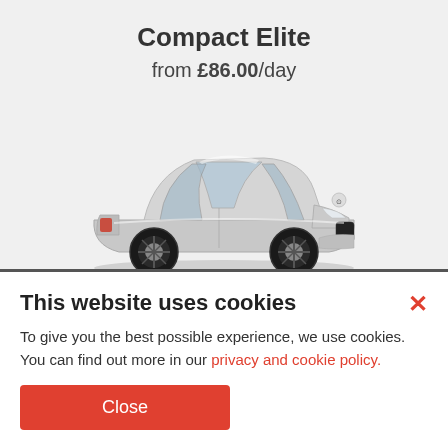Compact Elite
from £86.00/day
[Figure (photo): Silver Opel/Vauxhall Insignia sedan car shown from front-left three-quarter angle]
Standard
This website uses cookies
To give you the best possible experience, we use cookies. You can find out more in our privacy and cookie policy.
Close